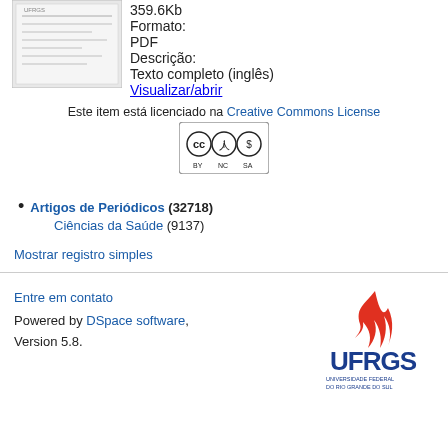[Figure (illustration): Small thumbnail image of a document/PDF preview]
359.6Kb
Formato: PDF
Descrição: Texto completo (inglês)
Visualizar/abrir
Este item está licenciado na Creative Commons License
[Figure (logo): Creative Commons BY-NC-SA license badge]
Artigos de Periódicos (32718)
Ciências da Saúde (9137)
Mostrar registro simples
Entre em contato
Powered by DSpace software, Version 5.8.
[Figure (logo): UFRGS - Universidade Federal do Rio Grande do Sul logo with flame icon]